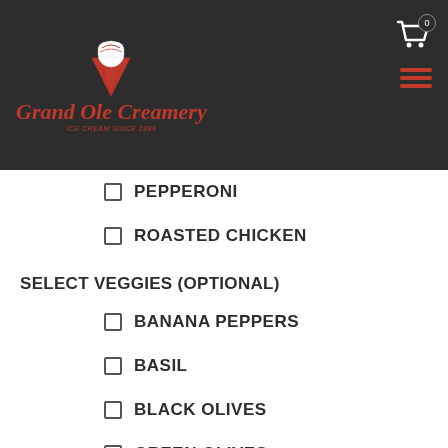Grand Ole Creamery
PEPPERONI
ROASTED CHICKEN
SELECT VEGGIES (OPTIONAL)
BANANA PEPPERS
BASIL
BLACK OLIVES
GREEN OLIVES
GREEN PEPPERS
HABANERO PEPPERS
JALAPENO PEPPERS